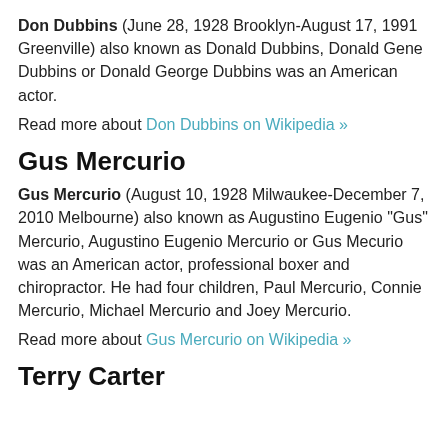Don Dubbins (June 28, 1928 Brooklyn-August 17, 1991 Greenville) also known as Donald Dubbins, Donald Gene Dubbins or Donald George Dubbins was an American actor.
Read more about Don Dubbins on Wikipedia »
Gus Mercurio
Gus Mercurio (August 10, 1928 Milwaukee-December 7, 2010 Melbourne) also known as Augustino Eugenio "Gus" Mercurio, Augustino Eugenio Mercurio or Gus Mecurio was an American actor, professional boxer and chiropractor. He had four children, Paul Mercurio, Connie Mercurio, Michael Mercurio and Joey Mercurio.
Read more about Gus Mercurio on Wikipedia »
Terry Carter